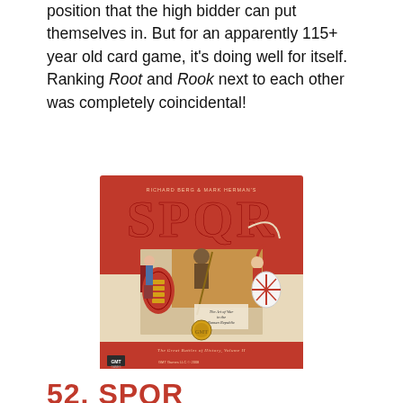position that the high bidder can put themselves in. But for an apparently 115+ year old card game, it's doing well for itself. Ranking Root and Rook next to each other was completely coincidental!
[Figure (illustration): Box cover of SPQR board game by Richard Berg & Mark Herman. Red and beige cover with large red 'SPQR' title text, three ancient soldiers/warriors illustrated in the center, subtitle 'The Art of War in the Roman Republic', and 'The Great Battles of History, Volume II'. GMT Games LLC © 2008 logo at bottom.]
52. SPQR